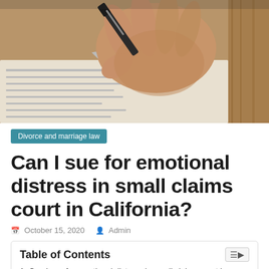[Figure (photo): Close-up photo of a hand holding a fountain pen and writing on a document/paper]
Divorce and marriage law
Can I sue for emotional distress in small claims court in California?
October 15, 2020   Admin
Table of Contents
1. Can I sue for emotional distress in small claims court in California?
2. How much can I sue for in California Small Claims Court?